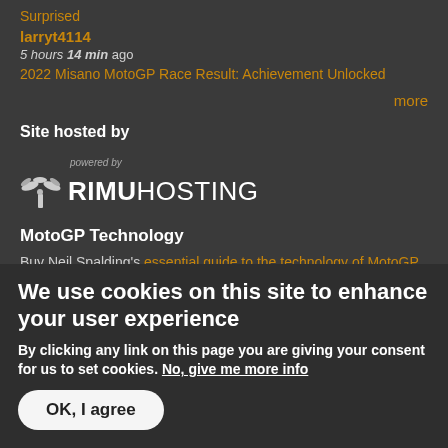Surprised
larryt4114
5 hours 14 min ago
2022 Misano MotoGP Race Result: Achievement Unlocked
more
Site hosted by
[Figure (logo): Rimu Hosting logo — powered by RIMUHOSTING with a stylized palm tree icon]
MotoGP Technology
Buy Neil Spalding's essential guide to the technology of MotoGP
We use cookies on this site to enhance your user experience
By clicking any link on this page you are giving your consent for us to set cookies. No, give me more info
OK, I agree